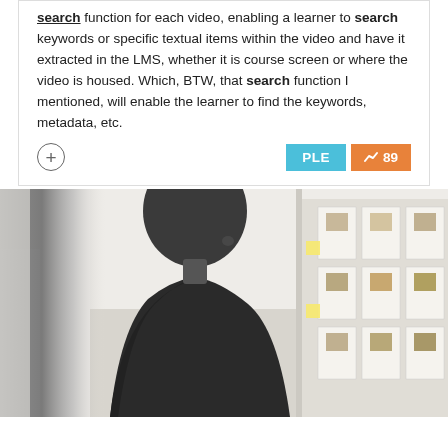search function for each video, enabling a learner to search keywords or specific textual items within the video and have it extracted in the LMS, whether it is course screen or where the video is housed. Which, BTW, that search function I mentioned, will enable the learner to find the keywords, metadata, etc.
[Figure (photo): A person wearing dark clothing and glasses viewed from behind/side, looking at a wall covered with printed cards/post-it notes and papers, in a bright minimalist workspace.]